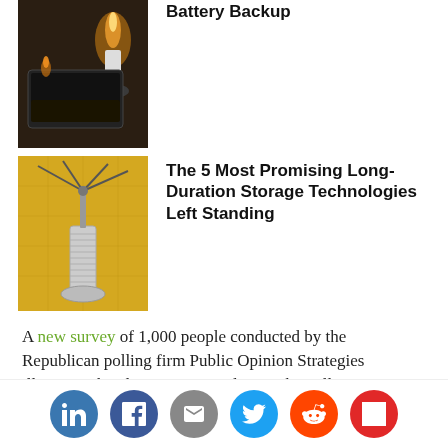[Figure (photo): Laptop in dark room with candlelight - battery backup article thumbnail]
Battery Backup
[Figure (photo): Yellow background with mechanical tower/flywheel structure - long-duration storage technologies article thumbnail]
The 5 Most Promising Long-Duration Storage Technologies Left Standing
A new survey of 1,000 people conducted by the Republican polling firm Public Opinion Strategies illustrates this dynamic. According to the poll, 75 percent of Trump voters support "action to accelerate the deployment and use of clean energy"
[Figure (infographic): Social sharing icons: LinkedIn, Facebook, Email, Twitter, Reddit, Flipboard]